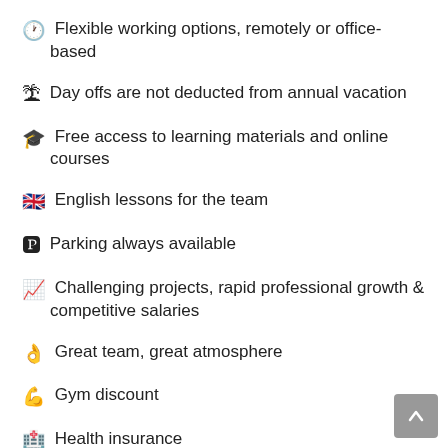🕐 Flexible working options, remotely or office-based
🏝 Day offs are not deducted from annual vacation
🎓 Free access to learning materials and online courses
🇬🇧 English lessons for the team
🅿 Parking always available
📈 Challenging projects, rapid professional growth & competitive salaries
👌 Great team, great atmosphere
💪 Gym discount
🏥 Health insurance